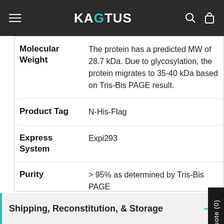KAGTUS
| Property | Value |
| --- | --- |
| Molecular Weight | The protein has a predicted MW of 28.7 kDa. Due to glycosylation, the protein migrates to 35-40 kDa based on Tris-Bis PAGE result. |
| Product Tag | N-His-Flag |
| Express System | Expi293 |
| Purity | > 95% as determined by Tris-Bis PAGE |
| Endotoxin | Less than 1EU per μg by the LAL method. |
Shipping, Reconstitution, & Storage